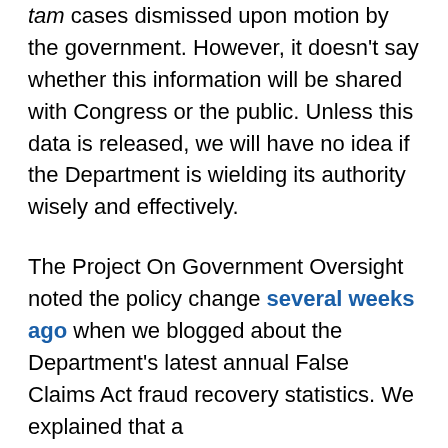tam cases dismissed upon motion by the government. However, it doesn't say whether this information will be shared with Congress or the public. Unless this data is released, we will have no idea if the Department is wielding its authority wisely and effectively.
The Project On Government Oversight noted the policy change several weeks ago when we blogged about the Department's latest annual False Claims Act fraud recovery statistics. We explained that a